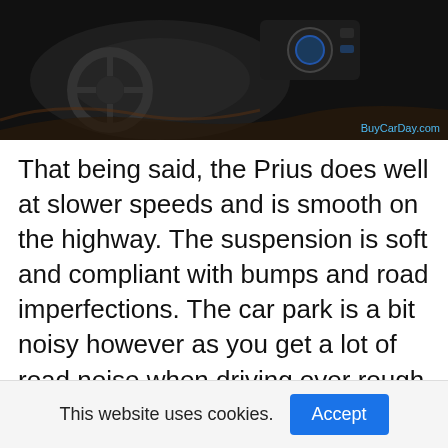[Figure (photo): Dark interior of a car showing dashboard, steering wheel, and center console with controls. Watermark reads BuyCarDay.com in bottom right corner.]
That being said, the Prius does well at slower speeds and is smooth on the highway. The suspension is soft and compliant with bumps and road imperfections. The car park is a bit noisy however as you get a lot of road noise when driving over rough pavement. It’s not a luxury. The average reading from the car or my decibel meter on the highway is about 80 decibels. For reference most Lexus models I’ve tested measure around 70 decibels.
This website uses cookies. Accept